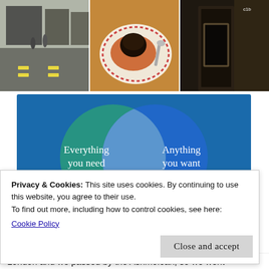[Figure (photo): Three photos in a horizontal strip: left shows a street with yellow road markings and people walking, center shows a dark chocolate dessert on a decorative plate, right shows a dark interior doorway scene.]
[Figure (infographic): Venn diagram on a blue background showing two overlapping circles. Left circle (teal/green): 'Everything you need'. Right circle (blue): 'Anything you want'. The overlapping area is a lighter blue-grey lens shape.]
Privacy & Cookies: This site uses cookies. By continuing to use this website, you agree to their use.
To find out more, including how to control cookies, see here:
Cookie Policy
Close and accept
London and we passed by the Ashmolean, so we went